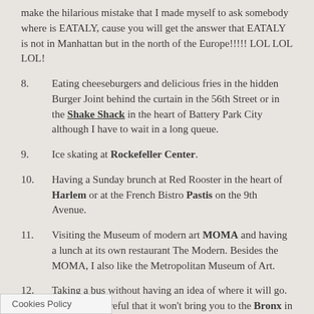make the hilarious mistake that I made myself to ask somebody where is EATALY, cause you will get the answer that EATALY is not in Manhattan but in the north of the Europe!!!!! LOL LOL LOL!
8.    Eating cheeseburgers and delicious fries in the hidden Burger Joint behind the curtain in the 56th Street or in the Shake Shack in the heart of Battery Park City although I have to wait in a long queue.
9.    Ice skating at Rockefeller Center.
10.   Having a Sunday brunch at Red Rooster in the heart of Harlem or at the French Bistro Pastis on the 9th Avenue.
11.   Visiting the Museum of modern art MOMA and having a lunch at its own restaurant The Modern. Besides the MOMA, I also like the Metropolitan Museum of Art.
12.   Taking a bus without having an idea of where it will go. But just be careful that it won't bring you to the Bronx in the middle of the night.
13.   olumbia University and all of a sudden finding out that
Cookies Policy